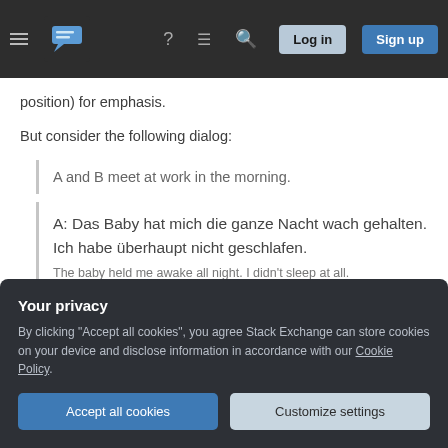Stack Exchange navigation bar with Log in and Sign up buttons
position) for emphasis.
But consider the following dialog:
A and B meet at work in the morning.
A: Das Baby hat mich die ganze Nacht wach gehalten. Ich habe überhaupt nicht geschlafen.
The baby held me awake all night. I didn't sleep at all.
Your privacy
By clicking "Accept all cookies", you agree Stack Exchange can store cookies on your device and disclose information in accordance with our Cookie Policy.
Accept all cookies
Customize settings